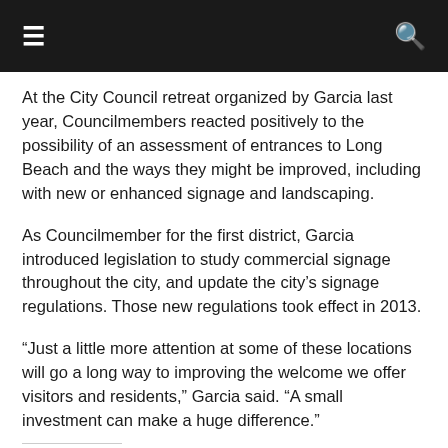≡  🔍
At the City Council retreat organized by Garcia last year, Councilmembers reacted positively to the possibility of an assessment of entrances to Long Beach and the ways they might be improved, including with new or enhanced signage and landscaping.
As Councilmember for the first district, Garcia introduced legislation to study commercial signage throughout the city, and update the city's signage regulations. Those new regulations took effect in 2013.
“Just a little more attention at some of these locations will go a long way to improving the welcome we offer visitors and residents,” Garcia said. “A small investment can make a huge difference.”